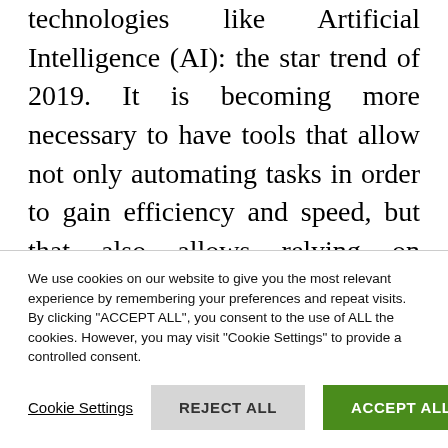technologies like Artificial Intelligence (AI): the star trend of 2019. It is becoming more necessary to have tools that allow not only automating tasks in order to gain efficiency and speed, but that also allows relying on intelligent automation for daily tasks and workflows. Only then can the industry focus its attention on what really matters: the creation of quality content to differentiate them from the competition. AI and machine learning are relatively new offerings but already
We use cookies on our website to give you the most relevant experience by remembering your preferences and repeat visits. By clicking "ACCEPT ALL", you consent to the use of ALL the cookies. However, you may visit "Cookie Settings" to provide a controlled consent.